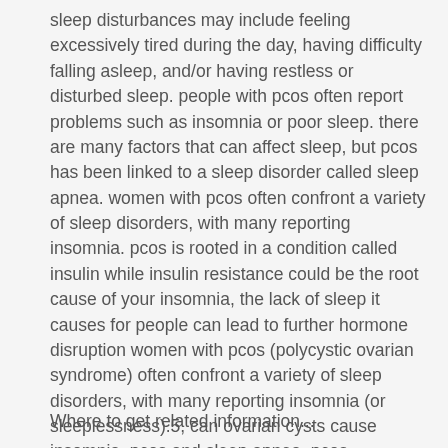sleep disturbances may include feeling excessively tired during the day, having difficulty falling asleep, and/or having restless or disturbed sleep. people with pcos often report problems such as insomnia or poor sleep. there are many factors that can affect sleep, but pcos has been linked to a sleep disorder called sleep apnea. women with pcos often confront a variety of sleep disorders, with many reporting insomnia. pcos is rooted in a condition called insulin while insulin resistance could be the root cause of your insomnia, the lack of sleep it causes for people can lead to further hormone disruption women with pcos (polycystic ovarian syndrome) often confront a variety of sleep disorders, with many reporting insomnia (or sleeplessness).5, can ovarian cysts cause insomnia, pcos and sleep apnea, pcos symptoms, pcos night sweats, pcos tired and depressed, pcos and narcolepsy, what causes pcos, stress and pcos, pcos mood swings, pcos and sleepiness.
Where to get related information...